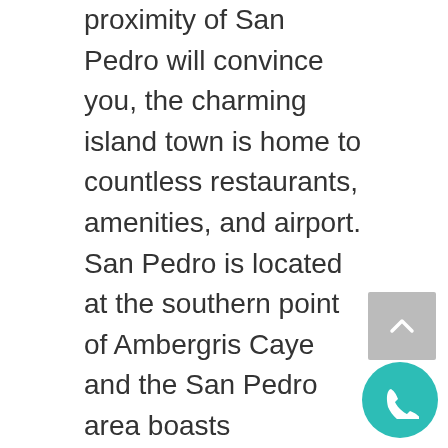proximity of San Pedro will convince you, the charming island town is home to countless restaurants, amenities, and airport. San Pedro is located at the southern point of Ambergris Caye and the San Pedro area boasts impressive ocean and scenic views that will leave you speechless. With Ambergris Caye being the island that the town of San Pedro resides, you'll have unmatched access to local wildlife.
Belize and the island of Ambergris Caye is the perfect island getaway. Belize is home to extensive, natural shoreline that wa... into multiple inhabitable cayes, with